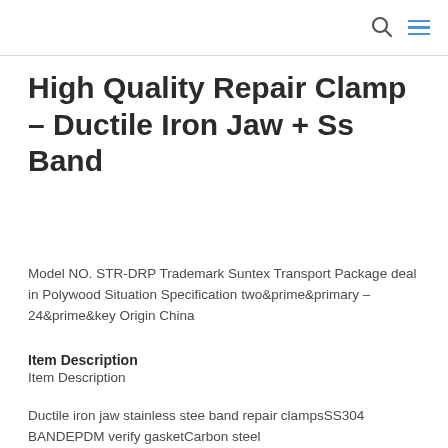🔍 ≡
High Quality Repair Clamp – Ductile Iron Jaw + Ss Band
Model NO. STR-DRP Trademark Suntex Transport Package deal in Polywood Situation Specification two&prime;&primary – 24&prime;&key Origin China
Item Description
Item Description
Ductile iron jaw stainless stee band repair clampsSS304 BANDEPDM verify gasketCarbon steel